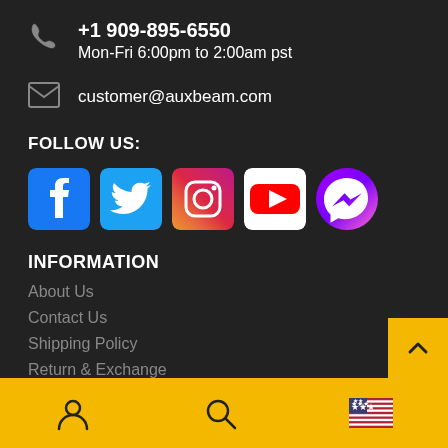+1 909-895-6550
Mon-Fri 6:00pm to 2:00am pst
customer@auxbeam.com
FOLLOW US:
[Figure (other): Social media icons: Facebook, Twitter, Instagram, YouTube, Messenger]
INFORMATION
About Us
Contact Us
Shipping Policy
Return & Exchange
Privacy Policy
User icon | Search icon | US flag icon